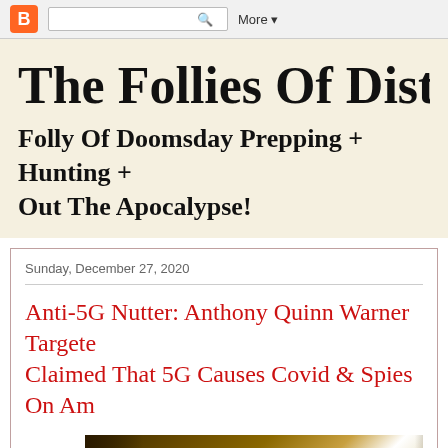Blogger toolbar with logo, search box, and More menu
The Follies Of Distrib
Folly Of Doomsday Prepping + Hunting + Out The Apocalypse!
Sunday, December 27, 2020
Anti-5G Nutter: Anthony Quinn Warner Targete Claimed That 5G Causes Covid & Spies On Am
[Figure (photo): Interior corridor or hallway scene with golden/amber lighting and bright white light source in center, dark edges]